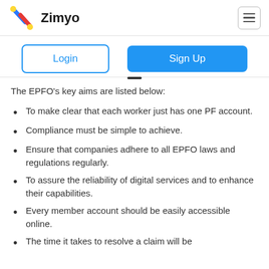Zimyo
The EPFO's key aims are listed below:
To make clear that each worker just has one PF account.
Compliance must be simple to achieve.
Ensure that companies adhere to all EPFO laws and regulations regularly.
To assure the reliability of digital services and to enhance their capabilities.
Every member account should be easily accessible online.
The time it takes to resolve a claim will be